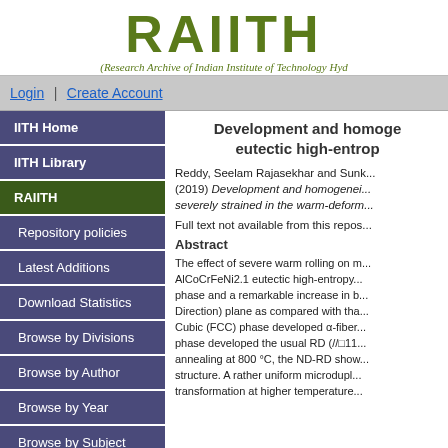[Figure (logo): RAIITH logo with text 'RAIITH' and subtitle '(Research Archive of Indian Institute of Technology Hyd...']
Login | Create Account
IITH Home
IITH Library
RAIITH
Repository policies
Latest Additions
Download Statistics
Browse by Divisions
Browse by Author
Browse by Year
Browse by Subject
Development and homoge... eutectic high-entrop...
Reddy, Seelam Rajasekhar and Sunk... (2019) Development and homogenei... severely strained in the warm-deform...
Full text not available from this repos...
Abstract
The effect of severe warm rolling on m... AlCoCrFeNi2.1 eutectic high-entropy... phase and a remarkable increase in b... Direction) plane as compared with tha... Cubic (FCC) phase developed α-fiber... phase developed the usual RD (//□11... annealing at 800 °C, the ND-RD show... structure. A rather uniform microdupl... transformation at higher temperature...